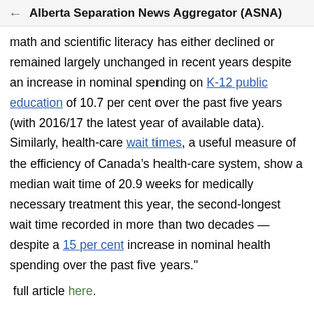← Alberta Separation News Aggregator (ASNA)
math and scientific literacy has either declined or remained largely unchanged in recent years despite an increase in nominal spending on K-12 public education of 10.7 per cent over the past five years (with 2016/17 the latest year of available data). Similarly, health-care wait times, a useful measure of the efficiency of Canada's health-care system, show a median wait time of 20.9 weeks for medically necessary treatment this year, the second-longest wait time recorded in more than two decades — despite a 15 per cent increase in nominal health spending over the past five years."
full article here.